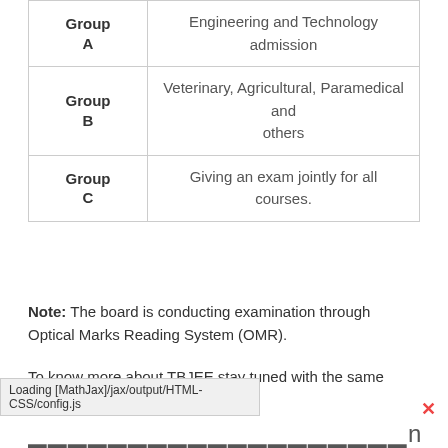| Group | Description |
| --- | --- |
| Group A | Engineering and Technology admission |
| Group B | Veterinary, Agricultural, Paramedical and others |
| Group C | Giving an exam jointly for all courses. |
Note: The board is conducting examination through Optical Marks Reading System (OMR).
To know more about TBJEE stay tuned with the same article.
Loading [MathJax]/jax/output/HTML-CSS/config.js